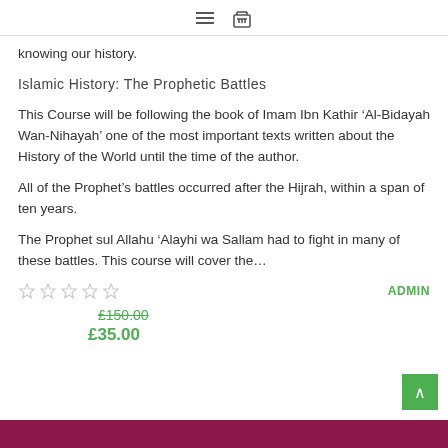Navigation header with menu and basket icons
knowing our history.
Islamic History: The Prophetic Battles
This Course will be following the book of Imam Ibn Kathir ‘Al-Bidayah Wan-Nihayah’ one of the most important texts written about the History of the World until the time of the author.
All of the Prophet’s battles occurred after the Hijrah, within a span of ten years.
The Prophet sul Allahu ‘Alayhi wa Sallam had to fight in many of these battles. This course will cover the…
ADMIN
£150.00
£35.00